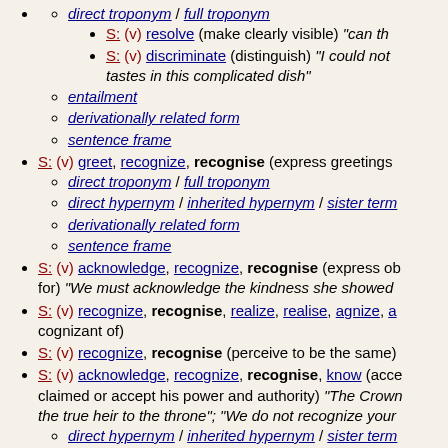direct troponym / full troponym
S: (v) resolve (make clearly visible) "can th..."
S: (v) discriminate (distinguish) "I could not tastes in this complicated dish"
entailment
derivationally related form
sentence frame
S: (v) greet, recognize, recognise (express greetings...)
direct troponym / full troponym
direct hypernym / inherited hypernym / sister term...
derivationally related form
sentence frame
S: (v) acknowledge, recognize, recognise (express ob... for) "We must acknowledge the kindness she showed..."
S: (v) recognize, recognise, realize, realise, agnize, a... cognizant of)
S: (v) recognize, recognise (perceive to be the same)
S: (v) acknowledge, recognize, recognise, know (acce... claimed or accept his power and authority) "The Crown... the true heir to the throne"; "We do not recognize your..."
direct hypernym / inherited hypernym / sister term...
derivationally related form
sentence frame